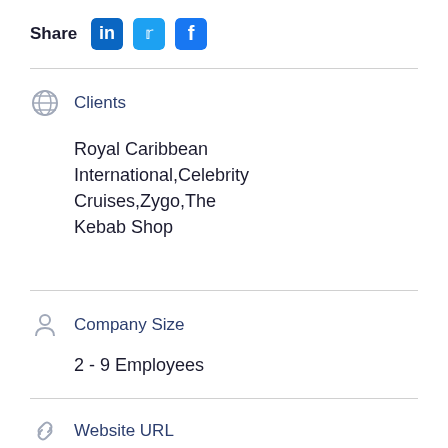Share
Clients
Royal Caribbean International,Celebrity Cruises,Zygo,The Kebab Shop
Company Size
2 - 9 Employees
Website URL